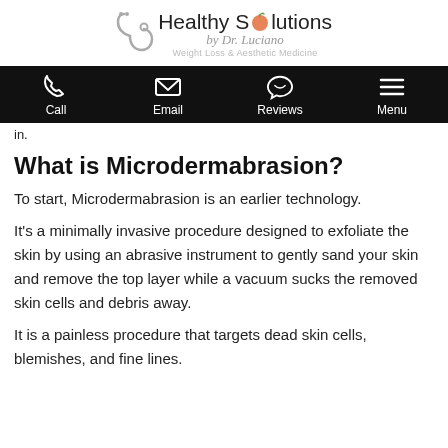[Figure (logo): Healthy Solutions by Dr. Luciano - Weight Loss & Aesthetic Medicine logo with stethoscope and peach icon]
Call | Email | Reviews | Menu
in.
What is Microdermabrasion?
To start, Microdermabrasion is an earlier technology.
It's a minimally invasive procedure designed to exfoliate the skin by using an abrasive instrument to gently sand your skin and remove the top layer while a vacuum sucks the removed skin cells and debris away.
It is a painless procedure that targets dead skin cells, blemishes, and fine lines.